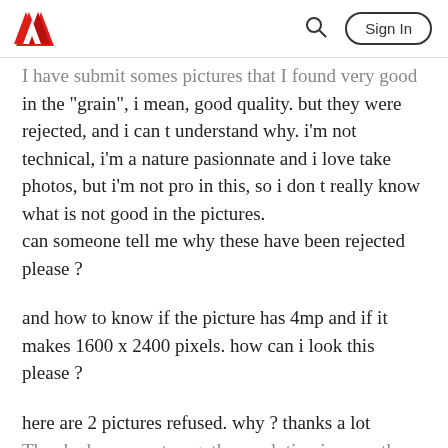Adobe | Sign In
I have submit somes pictures that I found very good in the "grain", i mean, good quality. but they were rejected, and i can t understand why. i'm not technical, i'm a nature pasionnate and i love take photos, but i'm not pro in this, so i don t really know what is not good in the pictures.
can someone tell me why these have been rejected please ?
and how to know if the picture has 4mp and if it makes 1600 x 2400 pixels. how can i look this please ?
here are 2 pictures refused. why ? thanks a lot
The shadows are strong, the resolution is more tha...